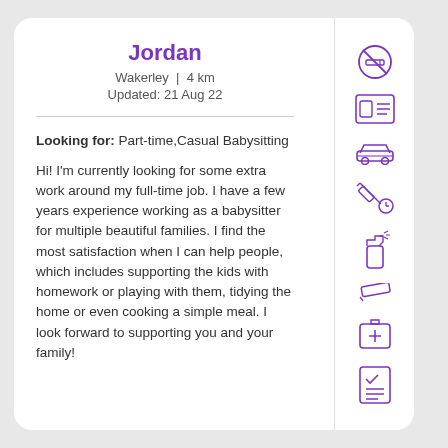Jordan
Wakerley | 4 km
Updated: 21 Aug 22
Looking for: Part-time,Casual Babysitting
Hi! I'm currently looking for some extra work around my full-time job. I have a few years experience working as a babysitter for multiple beautiful families. I find the most satisfaction when I can help people, which includes supporting the kids with homework or playing with them, tidying the home or even cooking a simple meal. I look forward to supporting you and your family!
[Figure (illustration): Column of purple outline icons: no smoking, ID card, car, syringe with clock, spray bottle, pencil, first aid kit, checklist]